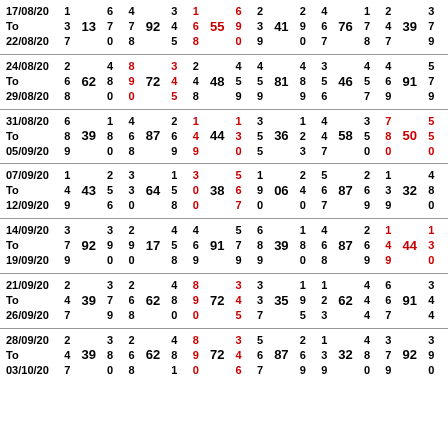| 17/08/20 | 1 |  | 6 | 4 |  | 3 | 1 |  | 6 | 2 |  | 2 | 4 |  | 1 | 2 |  | 3 |
| To | 3 | 13 | 7 | 7 | 92 | 4 | 6 | 55 | 9 | 3 | 41 | 9 | 6 | 76 | 7 | 4 | 39 | 7 |
| 22/08/20 | 7 |  | 0 | 8 |  | 5 | 8 |  | 0 | 9 |  | 0 | 7 |  | 8 | 7 |  | 9 |
| 24/08/20 | 2 |  | 4 | 8 |  | 3 | 2 |  | 4 | 4 |  | 4 | 3 |  | 4 | 4 |  | 5 |
| To | 6 | 62 | 8 | 9 | 72 | 4 | 4 | 48 | 5 | 5 | 81 | 8 | 5 | 46 | 5 | 6 | 91 | 7 |
| 29/08/20 | 8 |  | 0 | 0 |  | 5 | 8 |  | 9 | 9 |  | 9 | 6 |  | 7 | 9 |  | 9 |
| 31/08/20 | 6 |  | 1 | 4 |  | 2 | 1 |  | 1 | 3 |  | 1 | 4 |  | 3 | 7 |  | 5 |
| To | 8 | 39 | 8 | 6 | 87 | 6 | 4 | 44 | 3 | 5 | 36 | 2 | 4 | 58 | 5 | 8 | 50 | 5 |
| 05/09/20 | 9 |  | 0 | 8 |  | 9 | 9 |  | 0 | 5 |  | 3 | 7 |  | 0 | 0 |  | 0 |
| 07/09/20 | 1 |  | 2 | 3 |  | 1 | 3 |  | 5 | 1 |  | 2 | 5 |  | 2 | 1 |  | 4 |
| To | 4 | 43 | 5 | 3 | 64 | 5 | 0 | 38 | 6 | 9 | 06 | 4 | 6 | 87 | 6 | 3 | 32 | 8 |
| 12/09/20 | 9 |  | 6 | 0 |  | 8 | 0 |  | 7 | 0 |  | 0 | 7 |  | 9 | 9 |  | 0 |
| 14/09/20 | 3 |  | 3 | 2 |  | 4 | 4 |  | 5 | 6 |  | 1 | 4 |  | 2 | 1 |  | 1 |
| To | 7 | 92 | 9 | 9 | 17 | 5 | 6 | 91 | 7 | 8 | 39 | 8 | 6 | 87 | 6 | 4 | 44 | 3 |
| 19/09/20 | 9 |  | 0 | 0 |  | 8 | 9 |  | 9 | 9 |  | 0 | 8 |  | 9 | 9 |  | 0 |
| 21/09/20 | 2 |  | 3 | 2 |  | 4 | 8 |  | 3 | 3 |  | 1 | 1 |  | 4 | 6 |  | 3 |
| To | 4 | 39 | 7 | 6 | 62 | 8 | 9 | 72 | 4 | 3 | 35 | 9 | 2 | 62 | 4 | 6 | 91 | 4 |
| 26/09/20 | 7 |  | 9 | 8 |  | 0 | 0 |  | 5 | 7 |  | 5 | 3 |  | 4 | 7 |  | 4 |
| 28/09/20 | 2 |  | 3 | 2 |  | 4 | 8 |  | 3 | 5 |  | 2 | 1 |  | 4 | 3 |  | 3 |
| To | 4 | 39 | 8 | 6 | 62 | 8 | 9 | 72 | 4 | 6 | 87 | 6 | 3 | 32 | 8 | 7 | 92 | 9 |
| 03/10/20 | 7 |  | 0 | 8 |  | 1 | 0 |  | 6 | 7 |  | 9 | 9 |  | 0 | 9 |  | 0 |